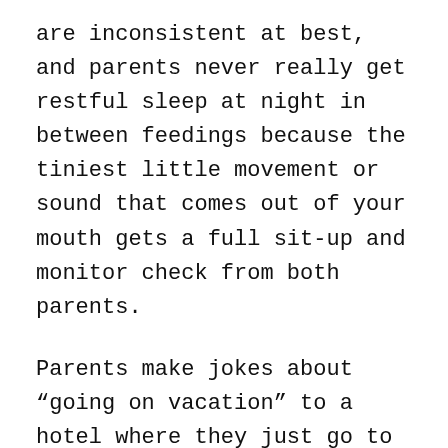are inconsistent at best, and parents never really get restful sleep at night in between feedings because the tiniest little movement or sound that comes out of your mouth gets a full sit-up and monitor check from both parents.
Parents make jokes about "going on vacation" to a hotel where they just go to bed early and sleep in. There's a reason that these jokes hit home with anyone who has lived with a baby for more than a few days.
Listen, I love you both and I'm just venting because your mom and I are in the thick of it right now. I'm sure that, Koen, sooner or later, you'll figure this sleep thing out and then your mom and I can count